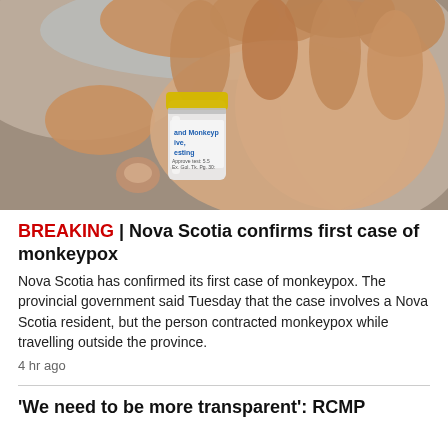[Figure (photo): A close-up photograph of a hand holding a small glass medicine vial with a yellow cap, labeled with 'and Monkeypox, Live, Testing' text on the label, against a blurred background.]
BREAKING | Nova Scotia confirms first case of monkeypox
Nova Scotia has confirmed its first case of monkeypox. The provincial government said Tuesday that the case involves a Nova Scotia resident, but the person contracted monkeypox while travelling outside the province.
4 hr ago
'We need to be more transparent': RCMP